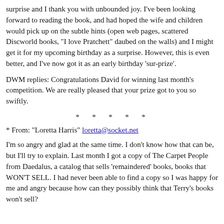surprise and I thank you with unbounded joy. I've been looking forward to reading the book, and had hoped the wife and children would pick up on the subtle hints (open web pages, scattered Discworld books, "I love Pratchett" daubed on the walls) and I might get it for my upcoming birthday as a surprise. However, this is even better, and I've now got it as an early birthday 'sur-prize'.
DWM replies: Congratulations David for winning last month's competition. We are really pleased that your prize got to you so swiftly.
* * * * *
* From: "Loretta Harris" loretta@socket.net
I'm so angry and glad at the same time. I don't know how that can be, but I'll try to explain. Last month I got a copy of The Carpet People from Daedalus, a catalog that sells 'remaindered' books, books that WON'T SELL. I had never been able to find a copy so I was happy for me and angry because how can they possibly think that Terry's books won't sell?